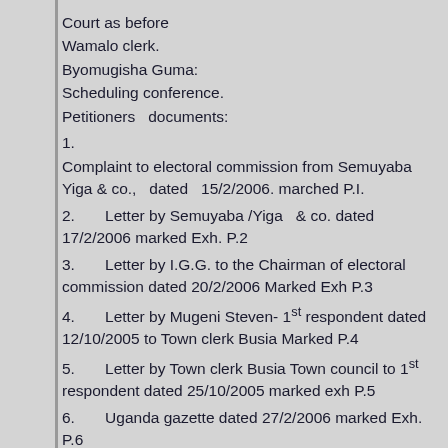Court as before
Wamalo clerk.
Byomugisha Guma:
Scheduling conference.
Petitioners  documents:
1.
Complaint to electoral commission from Semuyaba Yiga & co.,  dated  15/2/2006. marched P.I.
2.      Letter by Semuyaba /Yiga  & co. dated 17/2/2006 marked Exh. P.2
3.      Letter by I.G.G. to the Chairman of electoral commission dated 20/2/2006 Marked Exh P.3
4.      Letter by Mugeni Steven- 1st respondent dated 12/10/2005 to Town clerk Busia Marked P.4
5.      Letter by Town clerk Busia Town council to 1st respondent dated 25/10/2005 marked exh P.5
6.      Uganda gazette dated 27/2/2006 marked Exh. P.6